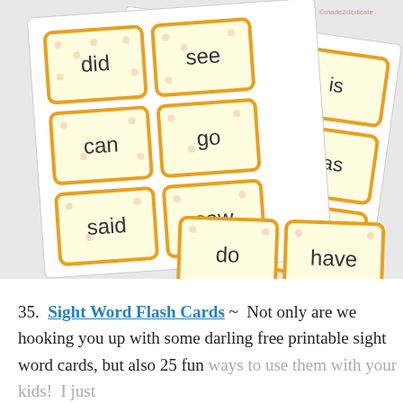[Figure (photo): Photo of sight word flash cards fanned out showing words: did, see, is, can, go, was, said, saw, yes, do, have. Cards have cream/yellow background with orange dotted border and polka dot pattern.]
35. Sight Word Flash Cards ~ Not only are we hooking you up with some darling free printable sight word cards, but also 25 fun ways to use them with your kids! I just